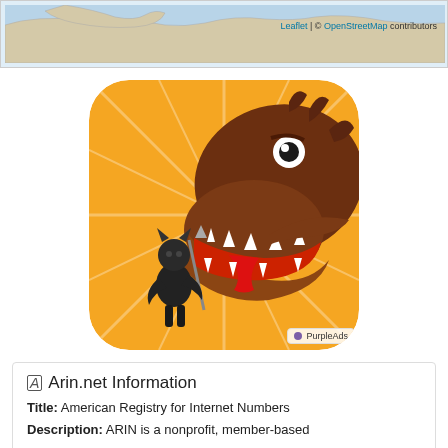[Figure (map): Partial map view with blue water background and land masses, with Leaflet and OpenStreetMap attribution in top right]
[Figure (photo): Game app advertisement image showing a dark armored character with a spear facing a large brown dragon with open mouth, on an orange sunburst background. PurpleAds badge in bottom right corner.]
Arin.net Information
Title: American Registry for Internet Numbers
Description: ARIN is a nonprofit, member-based